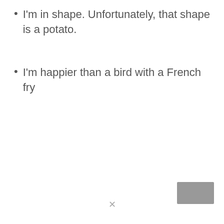I'm in shape. Unfortunately, that shape is a potato.
I'm happier than a bird with a French fry